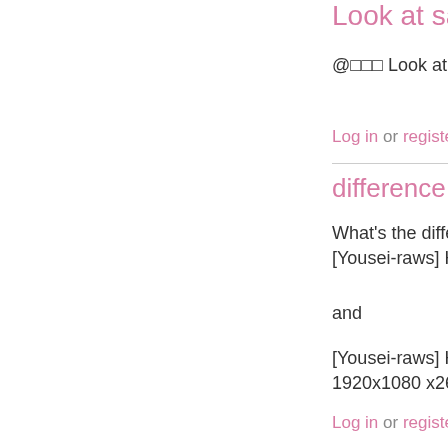Look at salenc
@□□□ Look at saler
Log in or register t
difference
What's the difference [Yousei-raws] Hyakka
and
[Yousei-raws] Hyakka 1920x1080 x264 FLA
Log in or register to p
@yollo I asked y
@yollo I asked youse
Log in or register to p